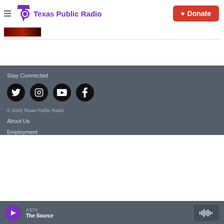Texas Public Radio | Donate
[Figure (photo): Partial image thumbnail strip at top, dark red/maroon photo]
Stay Connected
[Figure (infographic): Four social media icons (Twitter, Instagram, YouTube, Facebook) as black circles]
© 2022 Texas Public Radio
About Us
Employment
KSTX The Source